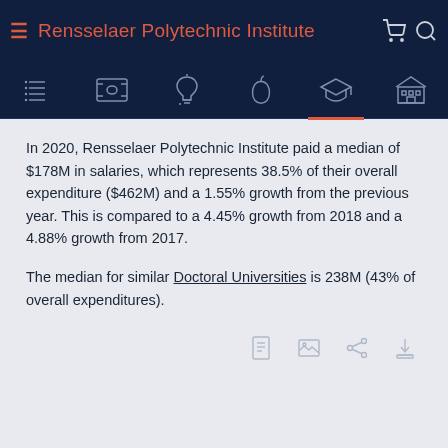Rensselaer Polytechnic Institute
In 2020, Rensselaer Polytechnic Institute paid a median of $178M in salaries, which represents 38.5% of their overall expenditure ($462M) and a 1.55% growth from the previous year. This is compared to a 4.45% growth from 2018 and a 4.88% growth from 2017.
The median for similar Doctoral Universities is 238M (43% of overall expenditures).